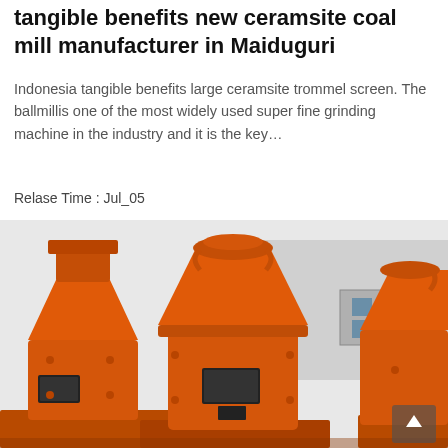tangible benefits new ceramsite coal mill manufacturer in Maiduguri
Indonesia tangible benefits large ceramsite trommel screen. The ballmillis one of the most widely used super fine grinding machine in the industry and it is the key…
Relase Time : Jul_05
[Figure (photo): Multiple large orange industrial coal mill / grinding machines arranged outdoors in front of a white industrial building. The machines are heavy orange-painted steel equipment with conical tops and cylindrical bodies.]